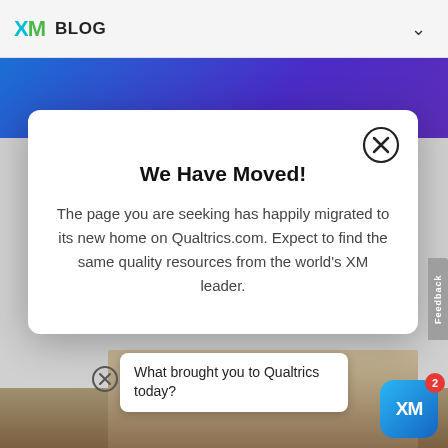XM BLOG
BY QUALTRICS
[Figure (screenshot): Modal dialog on Qualtrics XM Blog website showing 'We Have Moved!' message with close button]
We Have Moved!
The page you are seeking has happily migrated to its new home on Qualtrics.com. Expect to find the same quality resources from the world's XM leader.
What brought you to Qualtrics today?